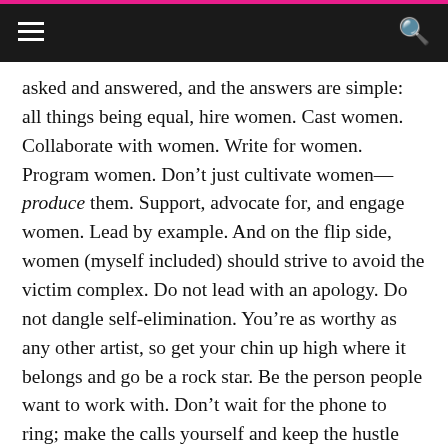≡   🔍
asked and answered, and the answers are simple: all things being equal, hire women. Cast women. Collaborate with women. Write for women. Program women. Don't just cultivate women—produce them. Support, advocate for, and engage women. Lead by example. And on the flip side, women (myself included) should strive to avoid the victim complex. Do not lead with an apology. Do not dangle self-elimination. You're as worthy as any other artist, so get your chin up high where it belongs and go be a rock star. Be the person people want to work with. Don't wait for the phone to ring; make the calls yourself and keep the hustle alive. And put your money where your ideology is: support the work of others by being in the audience.